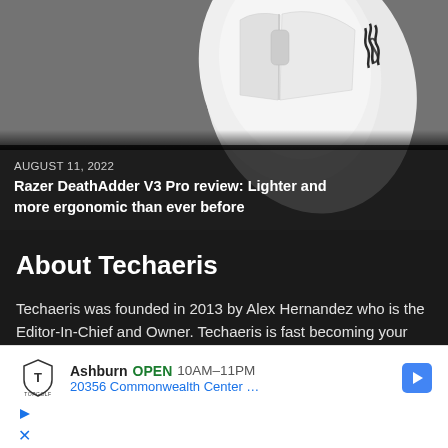[Figure (photo): White Razer DeathAdder V3 Pro gaming mouse on a gray textured stone surface, with the Razer logo visible on the mouse body.]
AUGUST 11, 2022
Razer DeathAdder V3 Pro review: Lighter and more ergonomic than ever before
About Techaeris
Techaeris was founded in 2013 by Alex Hernandez who is the Editor-In-Chief and Owner. Techaeris is fast becoming your source for technology news, reviews and
[Figure (screenshot): Advertisement for Topgolf Ashburn showing OPEN status with hours 10AM-11PM, address 20356 Commonwealth Center, Topgolf logo, navigation arrow icon, and close/play buttons.]